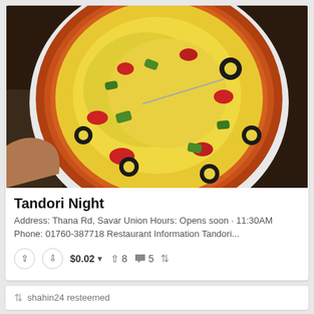[Figure (photo): A pizza on a white plate, topped with melted cheese, green bell peppers, black olives, and red tomatoes.]
Tandori Night
Address: Thana Rd, Savar Union Hours: Opens soon · 11:30AM
Phone: 01760-387718 Restaurant Information Tandori...
▲ ▼ $0.02 ▼  ▲ 8  💬 5  ↺
↺ shahin24 resteemed